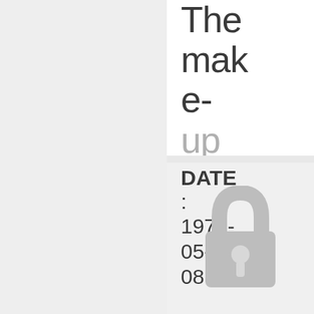The make-up
DATE: 1976-05-08
[Figure (illustration): A padlock icon centered on a gray background, indicating restricted/locked content]